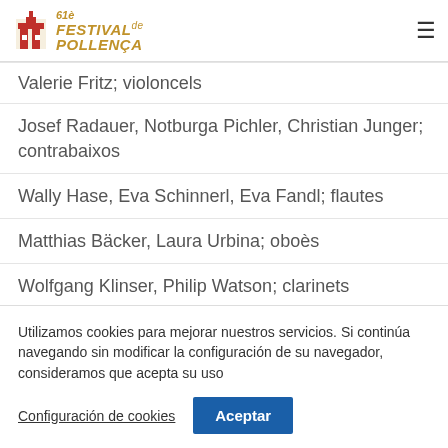61è Festival de Pollença
Valerie Fritz; violoncels
Josef Radauer, Notburga Pichler, Christian Junger; contrabaixos
Wally Hase, Eva Schinnerl, Eva Fandl; flautes
Matthias Bäcker, Laura Urbina; oboès
Wolfgang Klinser, Philip Watson; clarinets
Marco Lugaresi, Sergio Giordano; fagots
Utilizamos cookies para mejorar nuestros servicios. Si continúa navegando sin modificar la configuración de su navegador, consideramos que acepta su uso
Configuración de cookies  Aceptar